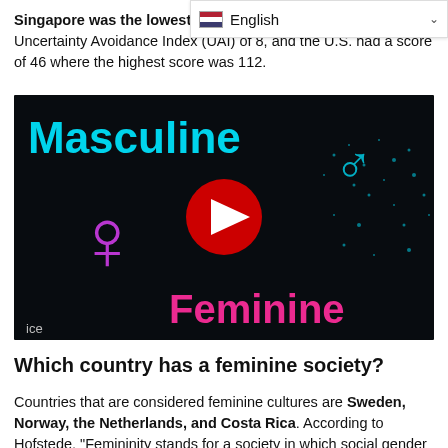Singapore was the lowest uncertainty avoidance country with a Country Uncertainty Avoidance Index (UAI) of 8, and the U.S. had a score of 46 where the highest score was 112.
[Figure (screenshot): YouTube video thumbnail showing the title 'Masculine' in cyan text and 'Feminine' in pink/magenta text against a dark background, with gender symbols (female symbol in magenta, male symbol in cyan). A red YouTube play button is centered on the image. Bottom-left shows 'ice' label.]
Which country has a feminine society?
Countries that are considered feminine cultures are Sweden, Norway, the Netherlands, and Costa Rica. According to Hofstede, "Femininity stands for a society in which social gender roles overlap"...